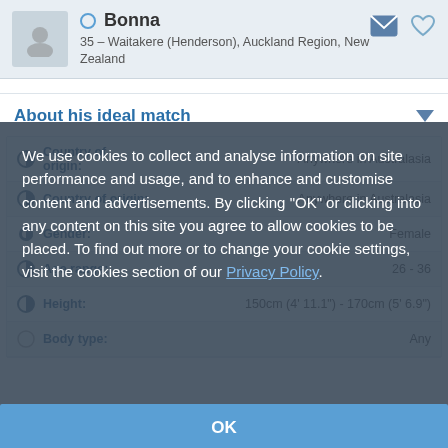[Figure (screenshot): Profile page for user 'Bonna', 35, from Waitakere (Henderson), Auckland Region, New Zealand, with 'About his ideal match' section showing attributes: Country of origin (Anywhere in Australasia x2), Gender (Female), Age range (26-36), Height (150cm (4' 11.1") - 170cm (5' 6.9")), Body type (Any). A cookie consent overlay is displayed over the content.]
Bonna
35 – Waitakere (Henderson), Auckland Region, New Zealand
About his ideal match
| Field | Value |
| --- | --- |
| Country of origin: | Anywhere in Australasia |
| Country of origin: | Anywhere in Australasia |
| Gender: | Female |
| Age range: | 26 - 36 |
| Height: | 150cm (4' 11.1") - 170cm (5' 6.9") |
| Body type: | Any |
We use cookies to collect and analyse information on site performance and usage, and to enhance and customise content and advertisements. By clicking "OK" or clicking into any content on this site you agree to allow cookies to be placed. To find out more or to change your cookie settings, visit the cookies section of our Privacy Policy.